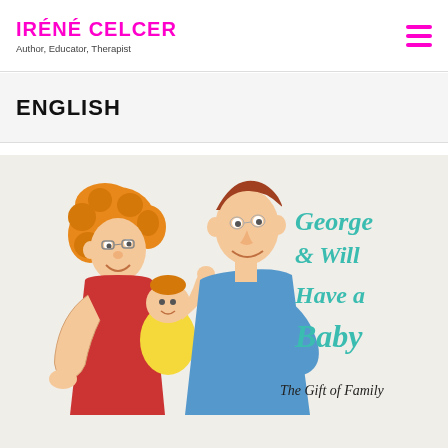IRÉNÉ CELCER
Author, Educator, Therapist
ENGLISH
[Figure (illustration): Book cover illustration showing two cartoon adults and a baby. The title reads 'George & Will Have a Baby – The Gift of Family'. Cartoon family with a woman with curly orange hair in red dress, a tall man in blue shirt, and a small baby with orange hair. Teal/turquoise handwritten-style title text.]